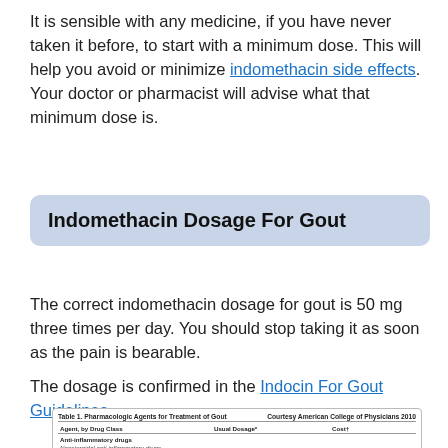It is sensible with any medicine, if you have never taken it before, to start with a minimum dose. This will help you avoid or minimize indomethacin side effects. Your doctor or pharmacist will advise what that minimum dose is.
Indomethacin Dosage For Gout
The correct indomethacin dosage for gout is 50 mg three times per day. You should stop taking it as soon as the pain is bearable.
The dosage is confirmed in the Indocin For Gout Guidelines.
| Agent, by Drug Class | Usual Dosage* | Cost† |
| --- | --- | --- |
| Anti-inflammatory drugs |  |  |
| Nonsteroidal anti-inflammatory drugs |  |  |
| Ibuprofen | 800 mg 3-4 times daily | $15 per 90-d supply |
| Naproxen | 750 mg, then 250 mg every 8 h | $7 per 40-d supply |
| Diclofenac | 75 mg twice daily | $27 per 30-d supply |
| Indomethacin | 50 mg 3 times daily | $10 per 30-d supply |
| Cyclooxygenase 2 inhibitors | — | $76 per 30-d supply‡ |
| Corticosteroids |  |  |
| Prednisolone | 30-40 mg/d | $11 per 30-d supply of 15-mg dose |
| Methylprednisolone | 0.5-2.0 mg/kg of body weight intravenously or | $26 per 21-d supply |